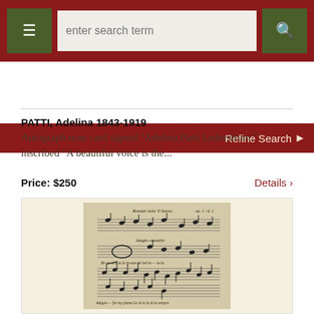enter search term
Refine Search
PATTI, Adelina 1843-1919
Autograph note card signed "Adelina Patti Lederström," inscribed "A beautiful voice is the...
Price: $250
Details ›
[Figure (photo): Manuscript music score — handwritten musical notation on aged paper with staff lines and handwritten text]